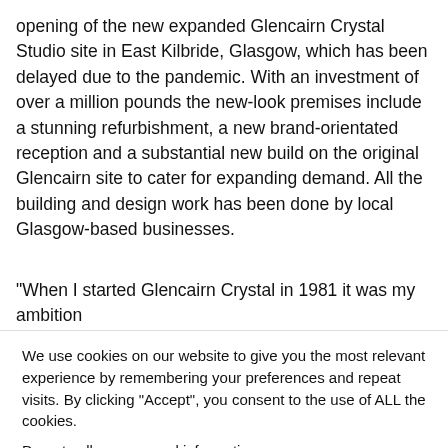opening of the new expanded Glencairn Crystal Studio site in East Kilbride, Glasgow, which has been delayed due to the pandemic. With an investment of over a million pounds the new-look premises include a stunning refurbishment, a new brand-orientated reception and a substantial new build on the original Glencairn site to cater for expanding demand. All the building and design work has been done by local Glasgow-based businesses.
“When I started Glencairn Crystal in 1981 it was my ambition
We use cookies on our website to give you the most relevant experience by remembering your preferences and repeat visits. By clicking “Accept”, you consent to the use of ALL the cookies.
Do not sell my personal information.
Cookie settings  ACCEPT